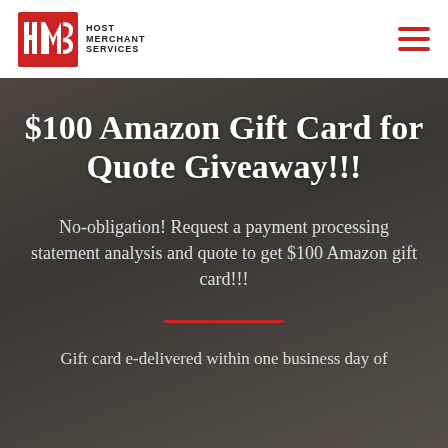Host Merchant Services
$100 Amazon Gift Card for Quote Giveaway!!!
No-obligation! Request a payment processing statement analysis and quote to get $100 Amazon gift card!!!
Gift card e-delivered within one business day of